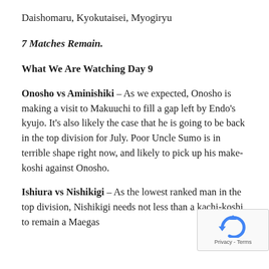Daishomaru, Kyokutaisei, Myogiryu
7 Matches Remain.
What We Are Watching Day 9
Onosho vs Aminishiki – As we expected, Onosho is making a visit to Makuuchi to fill a gap left by Endo's kyujo. It's also likely the case that he is going to be back in the top division for July. Poor Uncle Sumo is in terrible shape right now, and likely to pick up his make-koshi against Onosho.
Ishiura vs Nishikigi – As the lowest ranked man in the top division, Nishikigi needs not less than a kachi-koshi to remain a Maegash…